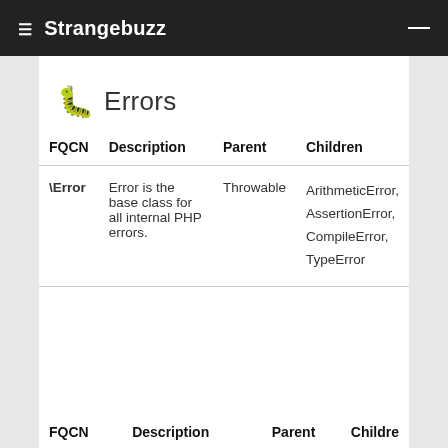☰ Strangebuzz
🐛 Errors
| FQCN | Description | Parent | Children |
| --- | --- | --- | --- |
| \Error | Error is the base class for all internal PHP errors. | Throwable | ArithmeticError, AssertionError, CompileError, TypeError |
| FQCN | Description | Parent | Childre |
| --- | --- | --- | --- |